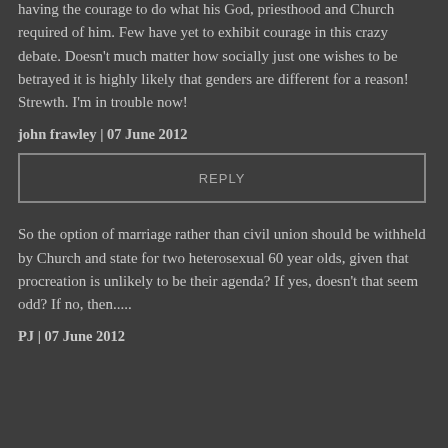having the courage to do what his God, priesthood and Church required of him. Few have yet to exhibit courage in this crazy debate. Doesn't much matter how socially just one wishes to be betrayed it is highly likely that genders are different for a reason! Strewth. I'm in trouble now!
john frawley | 07 June 2012
REPLY
So the option of marriage rather than civil union should be withheld by Church and state for two heterosexual 60 year olds, given that procreation is unlikely to be their agenda? If yes, doesn't that seem odd? If no, then.....
PJ | 07 June 2012